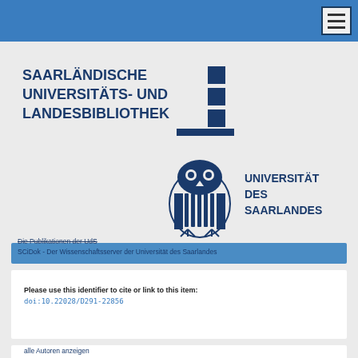Navigation bar with hamburger menu
[Figure (logo): Saarländische Universitäts- und Landesbibliothek logo with text and geometric bar graphic]
[Figure (logo): Universität des Saarlandes logo with owl emblem and text]
Die Publikationen der UdS
SCiDok - Der Wissenschaftsserver der Universität des Saarlandes
Please use this identifier to cite or link to this item:
doi:10.22028/D291-22856
alle Autoren anzeigen